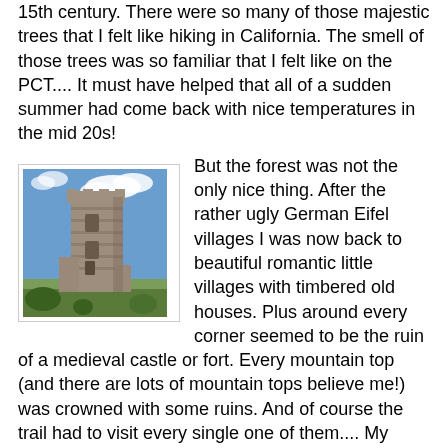15th century. There were so many of those majestic trees that I felt like hiking in California. The smell of those trees was so familiar that I felt like on the PCT.... It must have helped that all of a sudden summer had come back with nice temperatures in the mid 20s!
[Figure (photo): A medieval stone castle tower ruin on a hillside against a blue sky with white clouds.]
But the forest was not the only nice thing. After the rather ugly German Eifel villages I was now back to beautiful romantic little villages with timbered old houses. Plus around every corner seemed to be the ruin of a medieval castle or fort. Every mountain top (and there are lots of mountain tops believe me!) was crowned with some ruins. And of course the trail had to visit every single one of them.... My daily amount of climbing skyrocketed... and my